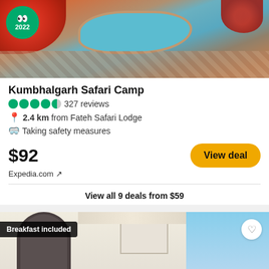[Figure (photo): Aerial/overhead view of hotel with a kidney-shaped swimming pool, red/orange flowering shrubs on the left, paved stone terrace, and TripAdvisor 2022 Travellers' Choice badge overlaid on the upper-left corner.]
Kumbhalgarh Safari Camp
●●●●◑ 327 reviews
📍 2.4 km from Fateh Safari Lodge
🛡 Taking safety measures
$92
Expedia.com ↗
View deal
View all 9 deals from $59
[Figure (photo): Hotel building exterior photo showing a white ornate facade with arches, a balcony on the right side, and blue sky. A 'Breakfast included' badge appears in the top-left corner, and a heart/favorite button is in the top-right corner.]
Booking.com ↗
$103
View deal